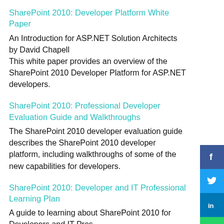SharePoint 2010: Developer Platform White Paper
An Introduction for ASP.NET Solution Architects by David Chapell
This white paper provides an overview of the SharePoint 2010 Developer Platform for ASP.NET developers.
SharePoint 2010: Professional Developer Evaluation Guide and Walkthroughs
The SharePoint 2010 developer evaluation guide describes the SharePoint 2010 developer platform, including walkthroughs of some of the new capabilities for developers.
SharePoint 2010: Developer and IT Professional Learning Plan
A guide to learning about SharePoint 2010 for Developers and IT Pros